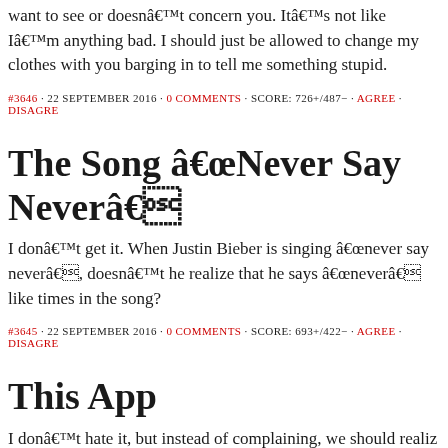want to see or doesn't concern you. It's not like I'm anything bad. I should just be allowed to change my clothes with you barging in to tell me something stupid.
#3646 · 22 SEPTEMBER 2016 · 0 COMMENTS · SCORE: 726+/487− · AGREE · DISAGREE
The Song “Never Say Never”
I don't get it. When Justin Bieber is singing “never say never”, doesn't he realize that he says “never” like times in the song?
#3645 · 22 SEPTEMBER 2016 · 0 COMMENTS · SCORE: 693+/422− · AGREE · DISAGREE
This App
I don't hate it, but instead of complaining, we should realiz